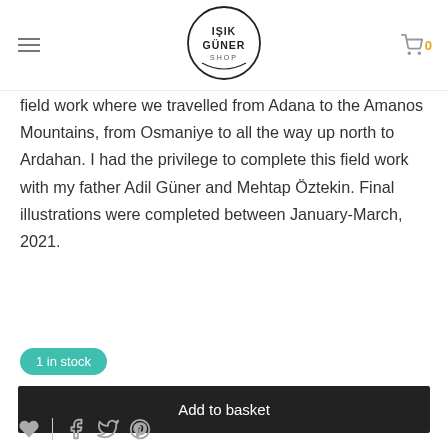IŞIK GÜNER SHOP
field work where we travelled from Adana to the Amanos Mountains, from Osmaniye to all the way up north to Ardahan. I had the privilege to complete this field work with my father Adil Güner and Mehtap Öztekin. Final illustrations were completed between January-March, 2021.
1 in stock
Add to basket